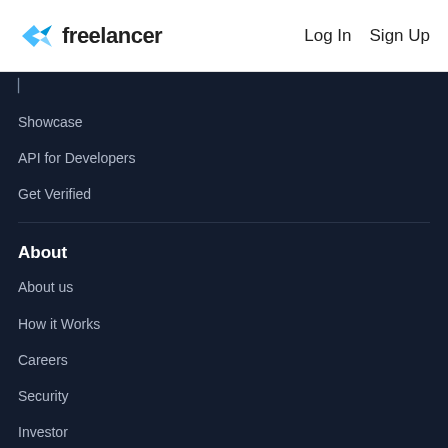Freelancer | Log In  Sign Up
Showcase
API for Developers
Get Verified
About
About us
How it Works
Careers
Security
Investor
Sitemap
Stories
News
Terms